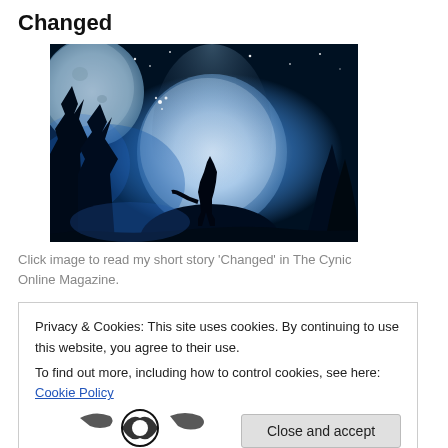Changed
[Figure (photo): Fantasy night scene with a wolf howling at a large glowing moon, silhouetted trees, and starry blue sky]
Click image to read my short story 'Changed' in The Cynic Online Magazine.
Privacy & Cookies: This site uses cookies. By continuing to use this website, you agree to their use.
To find out more, including how to control cookies, see here: Cookie Policy
[Figure (illustration): Partially visible black and white decorative illustration at bottom of page]